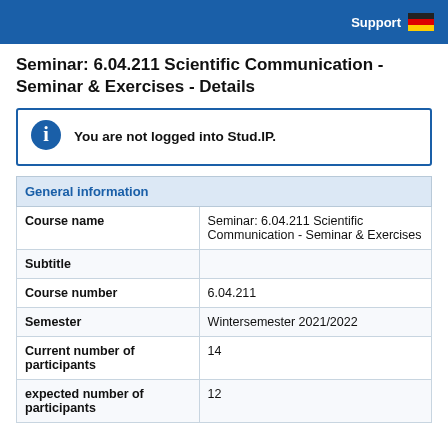Support
Seminar: 6.04.211 Scientific Communication - Seminar & Exercises - Details
You are not logged into Stud.IP.
| General information |  |
| --- | --- |
| Course name | Seminar: 6.04.211 Scientific Communication - Seminar & Exercises |
| Subtitle |  |
| Course number | 6.04.211 |
| Semester | Wintersemester 2021/2022 |
| Current number of participants | 14 |
| expected number of participants | 12 |